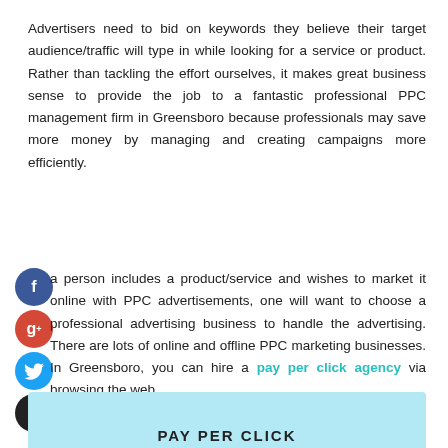Advertisers need to bid on keywords they believe their target audience/traffic will type in while looking for a service or product. Rather than tackling the effort ourselves, it makes great business sense to provide the job to a fantastic professional PPC management firm in Greensboro because professionals may save more money by managing and creating campaigns more efficiently.
a person includes a product/service and wishes to market it online with PPC advertisements, one will want to choose a professional advertising business to handle the advertising. There are lots of online and offline PPC marketing businesses. In Greensboro, you can hire a pay per click agency via browsing the web.
[Figure (other): Light blue banner section at bottom of page with bold text beginning 'PAY PER CLICK']